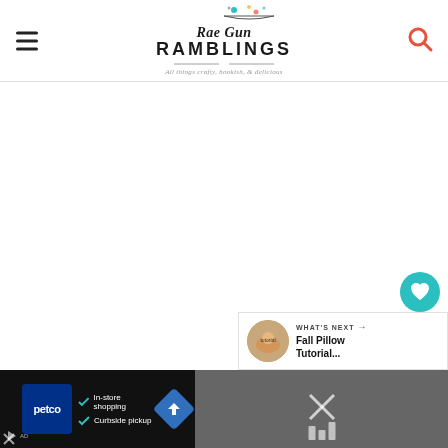Rae Gun Ramblings — All things crafty, bookish, & delicious
[Figure (illustration): Large blank/white content area (main article body)]
[Figure (illustration): Teal circular like/heart button with count of 1, and a share button below]
[Figure (illustration): What's Next panel with thumbnail and text: Fall Pillow Tutorial...]
[Figure (illustration): Bottom advertisement bar: Petco ad with In-store shopping and Curbside pickup, navigation arrow icon, and close button]